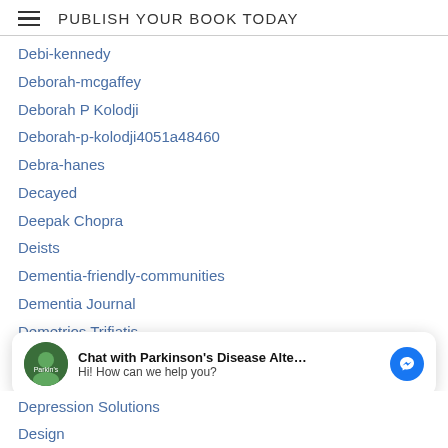PUBLISH YOUR BOOK TODAY
Debi-kennedy
Deborah-mcgaffey
Deborah P Kolodji
Deborah-p-kolodji4051a48460
Debra-hanes
Decayed
Deepak Chopra
Deists
Dementia-friendly-communities
Dementia Journal
Demetrios Trifiatis
Democracy-fund
Denisa Kondic (Bulgeria)
Denisa Kondic (Serbia)
[Figure (screenshot): Chat overlay: avatar of Parkinson's Disease Alte page, text 'Chat with Parkinson's Disease Alte...' and 'Hi! How can we help you?', Facebook Messenger icon button]
Depression Solutions
Design